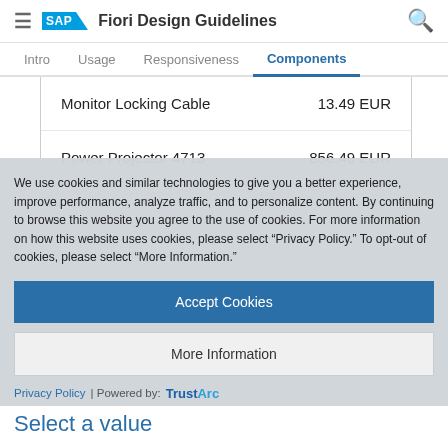SAP Fiori Design Guidelines
Intro  Usage  Responsiveness  Components
| Monitor Locking Cable | 13.49 EUR |
| Power Projector 4713 | 856.49 EUR |
We use cookies and similar technologies to give you a better experience, improve performance, analyze traffic, and to personalize content. By continuing to browse this website you agree to the use of cookies. For more information on how this website uses cookies, please select “Privacy Policy.” To opt-out of cookies, please select “More Information.”
Accept Cookies
More Information
Privacy Policy | Powered by: TrustArc
Select a value